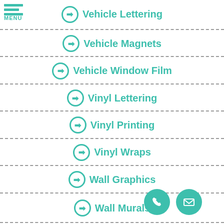Vehicle Lettering
Vehicle Magnets
Vehicle Window Film
Vinyl Lettering
Vinyl Printing
Vinyl Wraps
Wall Graphics
Wall Murals